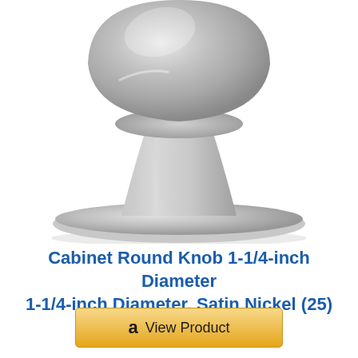[Figure (photo): A satin nickel cabinet round knob showing the bottom portion with a pedestal base, rendered against a white background.]
Cabinet Round Knob 1-1/4-inch Diameter 1-1/4-inch Diameter, Satin Nickel (25)
[Figure (other): Amazon 'View Product' button with gold/yellow gradient background and Amazon logo 'a' icon.]